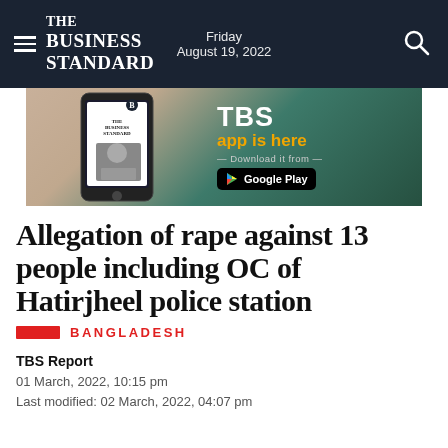The Business Standard — Friday August 19, 2022
[Figure (illustration): TBS app advertisement banner showing a hand holding a smartphone with The Business Standard app, with text 'TBS app is here — Download it from — Google Play']
Allegation of rape against 13 people including OC of Hatirjheel police station
BANGLADESH
TBS Report
01 March, 2022, 10:15 pm
Last modified: 02 March, 2022, 04:07 pm